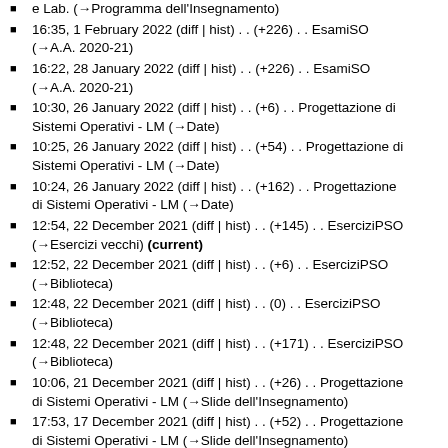e Lab. (→Programma dell'Insegnamento)
16:35, 1 February 2022 (diff | hist) . . (+226) . . EsamiSO (→A.A. 2020-21)
16:22, 28 January 2022 (diff | hist) . . (+226) . . EsamiSO (→A.A. 2020-21)
10:30, 26 January 2022 (diff | hist) . . (+6) . . Progettazione di Sistemi Operativi - LM (→Date)
10:25, 26 January 2022 (diff | hist) . . (+54) . . Progettazione di Sistemi Operativi - LM (→Date)
10:24, 26 January 2022 (diff | hist) . . (+162) . . Progettazione di Sistemi Operativi - LM (→Date)
12:54, 22 December 2021 (diff | hist) . . (+145) . . EserciziPSO (→Esercizi vecchi) (current)
12:52, 22 December 2021 (diff | hist) . . (+6) . . EserciziPSO (→Biblioteca)
12:48, 22 December 2021 (diff | hist) . . (0) . . EserciziPSO (→Biblioteca)
12:48, 22 December 2021 (diff | hist) . . (+171) . . EserciziPSO (→Biblioteca)
10:06, 21 December 2021 (diff | hist) . . (+26) . . Progettazione di Sistemi Operativi - LM (→Slide dell'Insegnamento)
17:53, 17 December 2021 (diff | hist) . . (+52) . . Progettazione di Sistemi Operativi - LM (→Slide dell'Insegnamento)
11:33, 16 December 2021 (diff | hist) . . (+223) . . Progettazione di Sistemi Operativi - LM (→Laboratorio)
11:15, 11 December 2021 (diff | hist) . . (+73) . . Progettazione